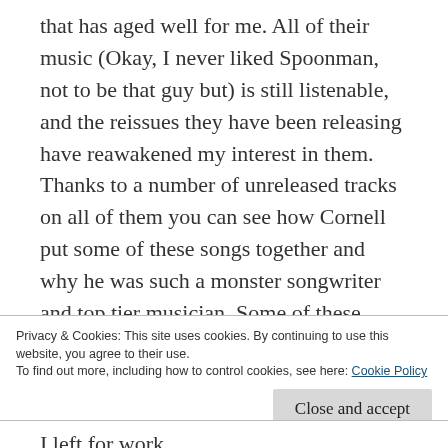that has aged well for me. All of their music (Okay, I never liked Spoonman, not to be that guy but) is still listenable, and the reissues they have been releasing have reawakened my interest in them. Thanks to a number of unreleased tracks on all of them you can see how Cornell put some of these songs together and why he was such a monster songwriter and top tier musician. Some of these bigger musicians dying the last few years (Bowie, Prince, etc) have been sad, but this one got my eyes watery this morning when I saw it on the TV in between stories about how sunny and warm it was going to be today and how surreal and sad the government is right now. Cornell was on a
Privacy & Cookies: This site uses cookies. By continuing to use this website, you agree to their use.
To find out more, including how to control cookies, see here: Cookie Policy
I left for work.